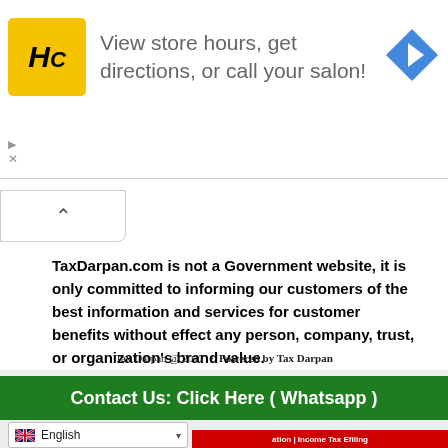[Figure (infographic): Advertisement banner: HC salon logo (yellow square with HC initials), text 'View store hours, get directions, or call your salon!', and a blue navigation arrow icon on the right.]
TaxDarpan.com is not a Government website, it is only committed to informing our customers of the best information and services for customer benefits without effect any person, company, trust, or organization's brand value.
Tax Darpan @ 2017 • Powered by Tax Darpan
Contact Us: Click Here ( Whatsapp )
English